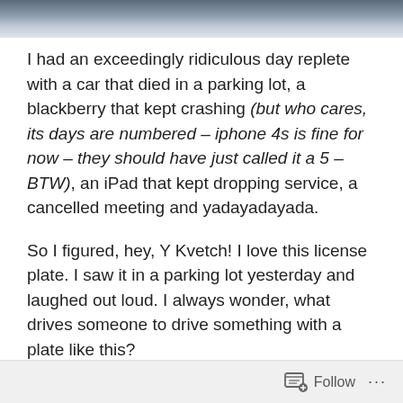[Figure (photo): Abstract blurred horizontal lines in shades of blue and grey, used as a decorative header image.]
I had an exceedingly ridiculous day replete with a car that died in a parking lot, a blackberry that kept crashing (but who cares, its days are numbered – iphone 4s is fine for now – they should have just called it a 5 – BTW), an iPad that kept dropping service, a cancelled meeting and yadayadayada.
So I figured, hey, Y Kvetch! I love this license plate. I saw it in a parking lot yesterday and laughed out loud. I always wonder, what drives someone to drive something with a plate like this?
Perhaps the owner of a Ranger Rover has nothing to kvetch about. But seriously, kvetching knows no socio
Follow ...